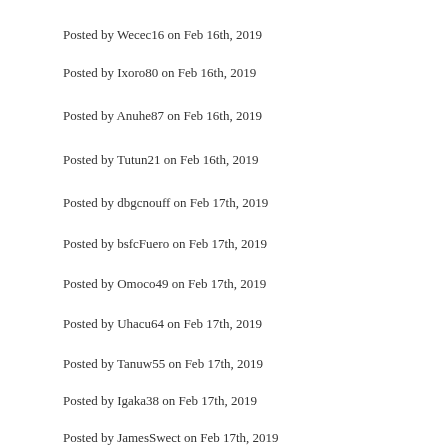Posted by Wecec16 on Feb 16th, 2019
Posted by Ixoro80 on Feb 16th, 2019
Posted by Anuhe87 on Feb 16th, 2019
Posted by Tutun21 on Feb 16th, 2019
Posted by dbgcnouff on Feb 17th, 2019
Posted by bsfcFuero on Feb 17th, 2019
Posted by Omoco49 on Feb 17th, 2019
Posted by Uhacu64 on Feb 17th, 2019
Posted by Tanuw55 on Feb 17th, 2019
Posted by Igaka38 on Feb 17th, 2019
Posted by JamesSwect on Feb 17th, 2019